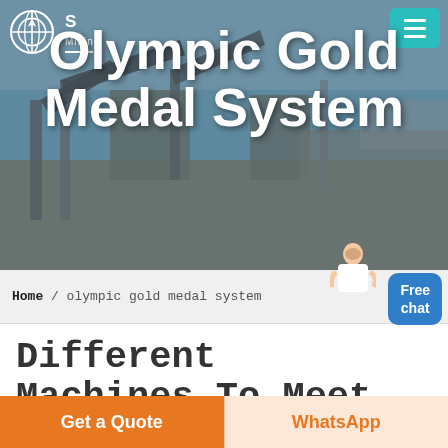[Figure (photo): Mining/industrial facility hero banner with large equipment and conveyors against a sky background. Text overlay reads 'Olympic Gold Medal System' in white bold font.]
S Mining
Olympic Gold Medal System
Home / olympic gold medal system
Different Machines To Meet All Need
[Figure (photo): Industrial building interior showing steel roof trusses and structural framing in blue-toned lighting.]
Get a Quote
WhatsApp